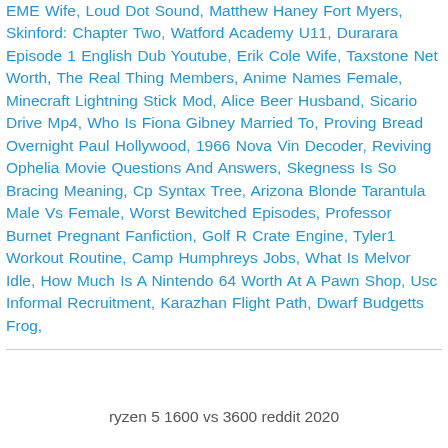EME Wife, Loud Dot Sound, Matthew Haney Fort Myers, Skinford: Chapter Two, Watford Academy U11, Durarara Episode 1 English Dub Youtube, Erik Cole Wife, Taxstone Net Worth, The Real Thing Members, Anime Names Female, Minecraft Lightning Stick Mod, Alice Beer Husband, Sicario Drive Mp4, Who Is Fiona Gibney Married To, Proving Bread Overnight Paul Hollywood, 1966 Nova Vin Decoder, Reviving Ophelia Movie Questions And Answers, Skegness Is So Bracing Meaning, Cp Syntax Tree, Arizona Blonde Tarantula Male Vs Female, Worst Bewitched Episodes, Professor Burnet Pregnant Fanfiction, Golf R Crate Engine, Tyler1 Workout Routine, Camp Humphreys Jobs, What Is Melvor Idle, How Much Is A Nintendo 64 Worth At A Pawn Shop, Usc Informal Recruitment, Karazhan Flight Path, Dwarf Budgetts Frog,
ryzen 5 1600 vs 3600 reddit 2020